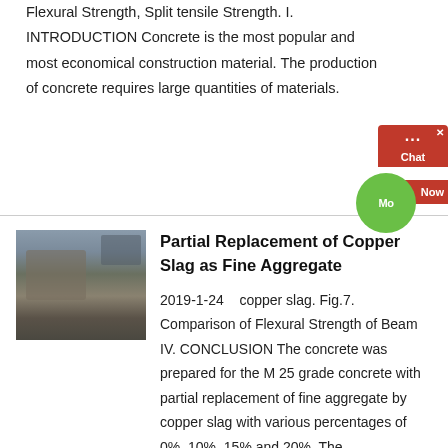Flexural Strength, Split tensile Strength. I. INTRODUCTION Concrete is the most popular and most economical construction material. The production of concrete requires large quantities of materials.
Partial Replacement of Copper Slag as Fine Aggregate
[Figure (photo): Photograph of a quarry or mining site showing rocks and excavation equipment]
2019-1-24   copper slag. Fig.7. Comparison of Flexural Strength of Beam IV. CONCLUSION The concrete was prepared for the M 25 grade concrete with partial replacement of fine aggregate by copper slag with various percentages of 0%, 10%, 15% and 20%. The